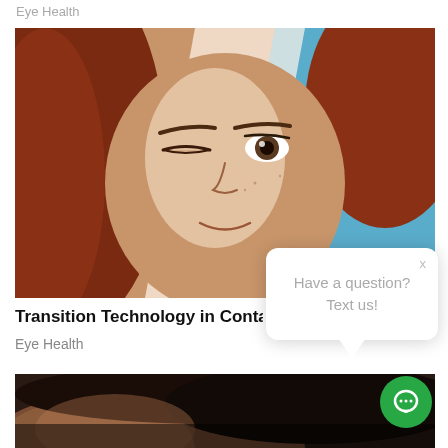Eye Health
[Figure (photo): Split-view close-up photo of a woman with red hair, one eye winking (left half overexposed/bright) and one eye open (right half with blue sky background), illustrating transition lens technology in contact lenses.]
Transition Technology in Conta…
Eye Health
[Figure (photo): Close-up partial photo of an eye/face in low light at the bottom of the page.]
Have a question? Text us!